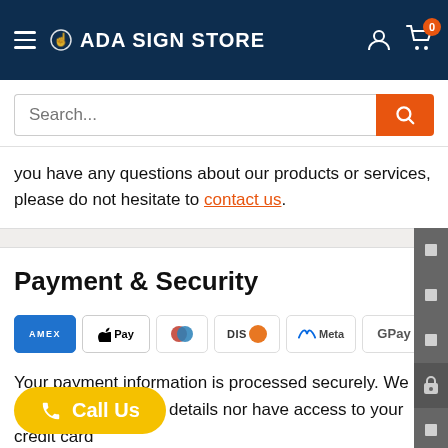ADA SIGN STORE
you have any questions about our products or services, please do not hesitate to contact us.
Payment & Security
[Figure (logo): Payment method logos: American Express (AMEX), Apple Pay, Diners Club, Discover, Meta Pay, Google Pay, Mastercard, OPay, Visa]
Your payment information is processed securely. We do not store credit card details nor have access to your credit card